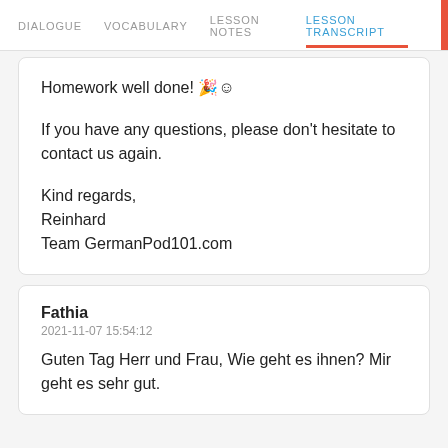DIALOGUE  VOCABULARY  LESSON NOTES  LESSON TRANSCRIPT  C
Homework well done! 🎉😊

If you have any questions, please don't hesitate to contact us again.

Kind regards,
Reinhard
Team GermanPod101.com
Fathia
2021-11-07 15:54:12
Guten Tag Herr und Frau, Wie geht es ihnen? Mir geht es sehr gut.